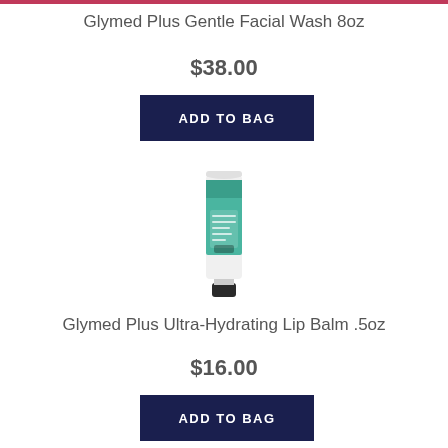Glymed Plus Gentle Facial Wash 8oz
$38.00
ADD TO BAG
[Figure (photo): Glymed Plus Ultra-Hydrating Lip Balm product tube, white with teal/green label design]
Glymed Plus Ultra-Hydrating Lip Balm .5oz
$16.00
ADD TO BAG